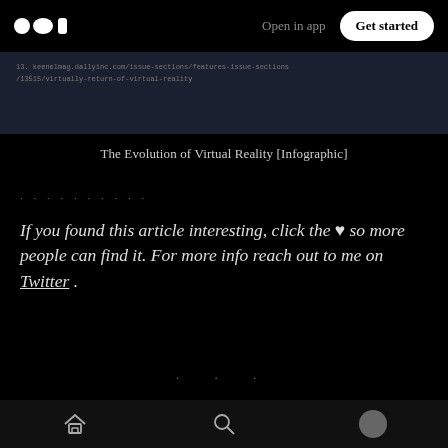Open in app | Get started
[Figure (screenshot): Screenshot of a webpage showing a URL: 13. keenselmag.dallyinc.com/issue-sections/features-issue-sections/13515/virtually-return-of-virtual-reality]
The Evolution of Virtual Reality [Infographic]
· · · · · · · · · · ·
If you found this article interesting, click the ♥ so more people can find it. For more info reach out to me on Twitter .
· · ·
Originally published at atr2k.com on January 25
Home | Search | Profile